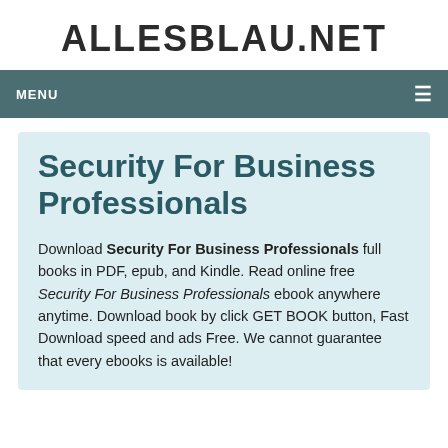ALLESBLAU.NET
MENU
Security For Business Professionals
Download Security For Business Professionals full books in PDF, epub, and Kindle. Read online free Security For Business Professionals ebook anywhere anytime. Download book by click GET BOOK button, Fast Download speed and ads Free. We cannot guarantee that every ebooks is available!